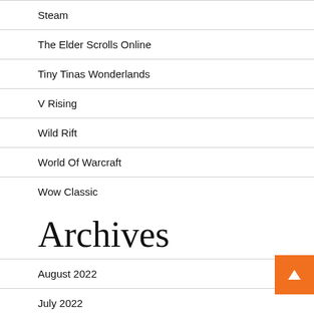Steam
The Elder Scrolls Online
Tiny Tinas Wonderlands
V Rising
Wild Rift
World Of Warcraft
Wow Classic
Archives
August 2022
July 2022
June 2022